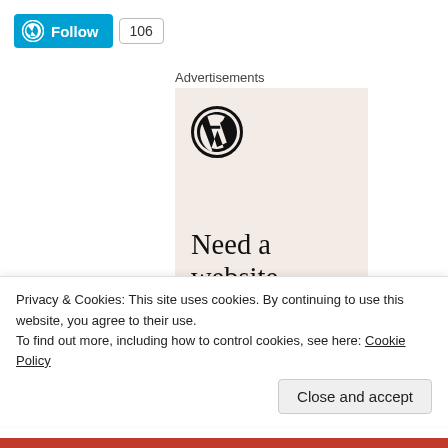[Figure (logo): WordPress Follow button with count badge showing 106]
Advertisements
[Figure (illustration): WordPress advertisement banner with WordPress logo and text 'Need a website quickly – and on']
Privacy & Cookies: This site uses cookies. By continuing to use this website, you agree to their use.
To find out more, including how to control cookies, see here: Cookie Policy
Close and accept